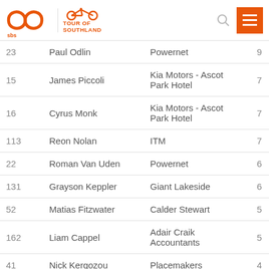SBS Tour of Southland
| # | Name | Team | Pts |
| --- | --- | --- | --- |
| 23 | Paul Odlin | Powernet | 9 |
| 15 | James Piccoli | Kia Motors - Ascot Park Hotel | 7 |
| 16 | Cyrus Monk | Kia Motors - Ascot Park Hotel | 7 |
| 113 | Reon Nolan | ITM | 7 |
| 22 | Roman Van Uden | Powernet | 6 |
| 131 | Grayson Keppler | Giant Lakeside | 6 |
| 52 | Matias Fitzwater | Calder Stewart | 5 |
| 162 | Liam Cappel | Adair Craik Accountants | 5 |
| 41 | Nick Kergozou | Placemakers | 4 |